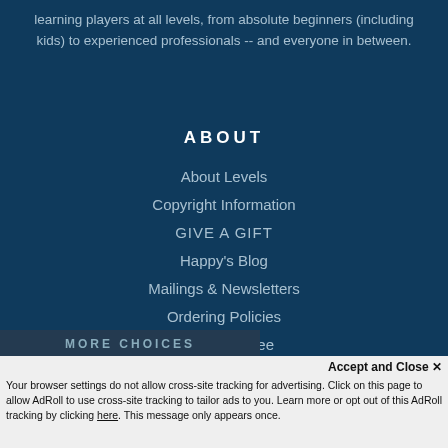learning players at all levels, from absolute beginners (including kids) to experienced professionals -- and everyone in between.
ABOUT
About Levels
Copyright Information
GIVE A GIFT
Happy's Blog
Mailings & Newsletters
Ordering Policies
Our Guarantee
Privacy Policies
MORE CHOICES
Accept and Close ✕
Your browser settings do not allow cross-site tracking for advertising. Click on this page to allow AdRoll to use cross-site tracking to tailor ads to you. Learn more or opt out of this AdRoll tracking by clicking here. This message only appears once.